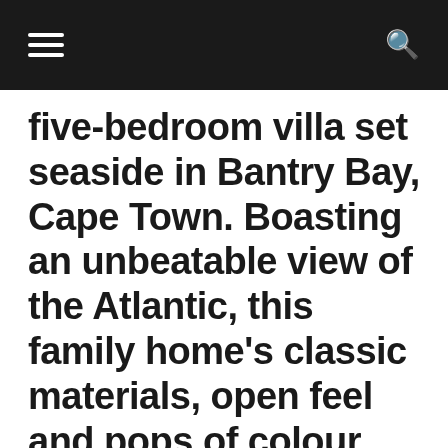[hamburger menu] [search icon]
five-bedroom villa set seaside in Bantry Bay, Cape Town. Boasting an unbeatable view of the Atlantic, this family home's classic materials, open feel and pops of colour create a contemporary modern home that wouldn't be out of place in any interior magazine.